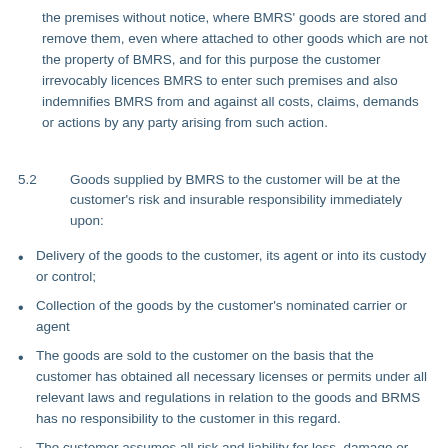the premises without notice, where BMRS' goods are stored and remove them, even where attached to other goods which are not the property of BMRS, and for this purpose the customer irrevocably licences BMRS to enter such premises and also indemnifies BMRS from and against all costs, claims, demands or actions by any party arising from such action.
5.2	Goods supplied by BMRS to the customer will be at the customer's risk and insurable responsibility immediately upon:
Delivery of the goods to the customer, its agent or into its custody or control;
Collection of the goods by the customer's nominated carrier or agent
The goods are sold to the customer on the basis that the customer has obtained all necessary licenses or permits under all relevant laws and regulations in relation to the goods and BRMS has no responsibility to the customer in this regard.
The customer assumes all risk and liability for loss, damage or injury to persons or to property of the customer, or third parties